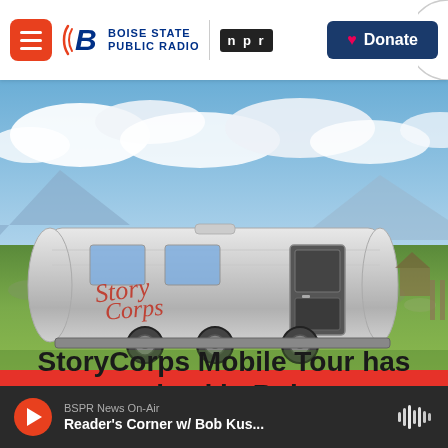Boise State Public Radio | NPR | Donate
[Figure (photo): StoryCorps silver Airstream trailer parked in a green field with sagebrush, mountains and dramatic cloudy sky in background. Red script 'StoryCorps' lettering on the side of the trailer.]
StoryCorps Mobile Tour has arrived in Boise
BSPR News On-Air — Reader's Corner w/ Bob Kus...